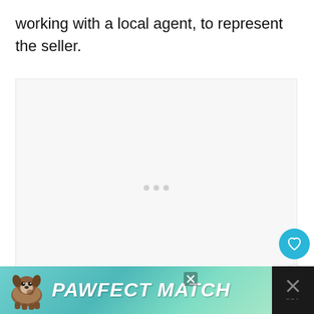working with a local agent, to represent the seller.
[Figure (other): Blank/loading image placeholder with three small dots centered in a light gray rectangle]
[Figure (other): Advertisement bar at the bottom: 'PAWFECT MATCH' pet adoption ad with a dog illustration on a teal/green gradient background, with a close (X) button and a share/dismiss control on the right side]